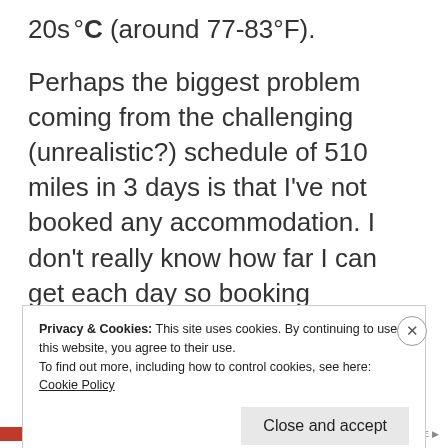20s°C (around 77-83°F).
Perhaps the biggest problem coming from the challenging (unrealistic?) schedule of 510 miles in 3 days is that I've not booked any accommodation. I don't really know how far I can get each day so booking something 170 miles in advance might just mean I'm 50 miles short of a welcoming bed by the time I can go no further.
Privacy & Cookies: This site uses cookies. By continuing to use this website, you agree to their use.
To find out more, including how to control cookies, see here: Cookie Policy
Close and accept